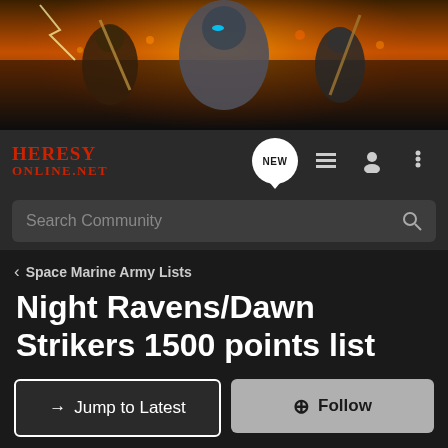[Figure (illustration): Fantasy battle scene banner with armored warriors, fiery background with orange and red hues, centered large armored figure with glowing elements]
[Figure (logo): Heresy Online dot net logo in red serif bold uppercase text]
Search Community
< Space Marine Army Lists
Night Ravens/Dawn Strikers 1500 points list
→ Jump to Latest
+ Follow
1 - 8 of 8 Posts